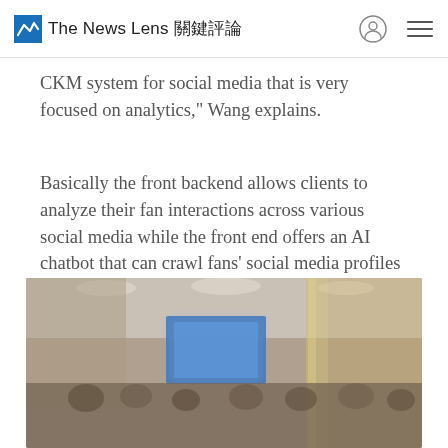The News Lens 關鍵評論
CKM system for social media that is very focused on analytics," Wang explains.
Basically the front backend allows clients to analyze their fan interactions across various social media while the front end offers an AI chatbot that can crawl fans' social media profiles and serve them content and responses in line with their interests.
[Figure (photo): A blurry photograph of a conference or event venue showing an audience seated in a room with a blue presentation screen at the front and decorative pillars.]